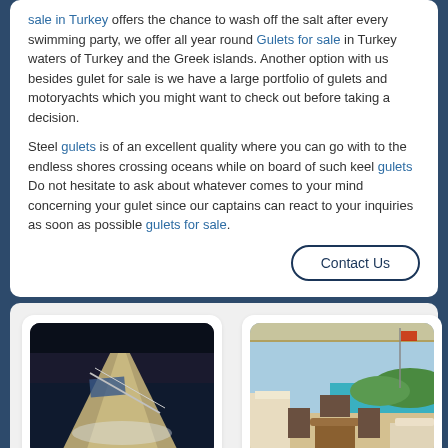sale in Turkey offers the chance to wash off the salt after every swimming party, we offer all year round Gulets for sale in Turkey waters of Turkey and the Greek islands. Another option with us besides gulet for sale is we have a large portfolio of gulets and motoryachts which you might want to check out before taking a decision.
Steel gulets is of an excellent quality where you can go with to the endless shores crossing oceans while on board of such keel gulets Do not hesitate to ask about whatever comes to your mind concerning your gulet since our captains can react to your inquiries as soon as possible gulets for sale.
Contact Us
[Figure (photo): Aerial/side view of a yacht or gulet boat on dark water]
Yacht Rental Turkey
Yacht Rental Turkey, crewed motor
[Figure (photo): Interior deck of a yacht with seating area overlooking turquoise sea and green hills]
Yacht Rental in Turkey
Yacht Rental in Turkey If your